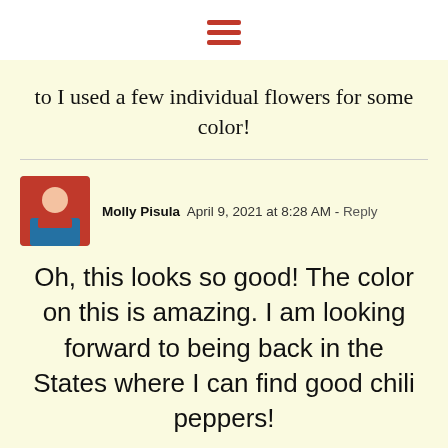[Figure (other): Hamburger menu icon with three red horizontal lines]
to I used a few individual flowers for some color!
Molly Pisula  April 9, 2021 at 8:28 AM  - Reply
Oh, this looks so good! The color on this is amazing. I am looking forward to being back in the States where I can find good chili peppers!
[Figure (other): Scroll-to-top button, dark grey circle with upward chevron]
chef mimi  April 9, 2021 at 6:02 PM  - Reply